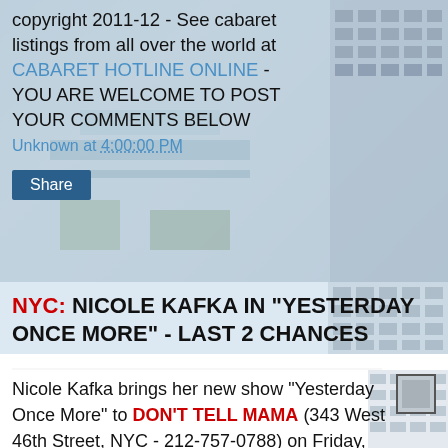copyright 2011-12 - See cabaret listings from all over the world at CABARET HOTLINE ONLINE - YOU ARE WELCOME TO POST YOUR COMMENTS BELOW
Unknown at 4:00:00 PM
Share
NYC: NICOLE KAFKA IN "YESTERDAY ONCE MORE" - LAST 2 CHANCES
Nicole Kafka brings her new show "Yesterday Once More" to DON'T TELL MAMA (343 West 46th Street, NYC - 212-757-0788) on Friday, May 11th at 9:15 pm; and Sunday, May 13th at 8:30 pm. Yesterday Once More includes great songs from the 1960s and early 1970s with some fun stories from Nicole's early life in NYC. She is joined on stage with a band that includes David Shenton, music director, piano; Hendrik Helmer, guitar; Matt Scharfglass, bass; and Stan Killian, tenor sax. The show is directed by Scott Coulter. There is a $20 cover plus a 2-drink minimum.